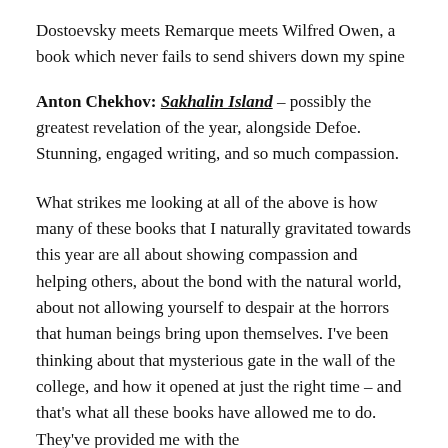Dostoevsky meets Remarque meets Wilfred Owen, a book which never fails to send shivers down my spine
Anton Chekhov: Sakhalin Island – possibly the greatest revelation of the year, alongside Defoe. Stunning, engaged writing, and so much compassion.
What strikes me looking at all of the above is how many of these books that I naturally gravitated towards this year are all about showing compassion and helping others, about the bond with the natural world, about not allowing yourself to despair at the horrors that human beings bring upon themselves. I've been thinking about that mysterious gate in the wall of the college, and how it opened at just the right time – and that's what all these books have allowed me to do. They've provided me with the